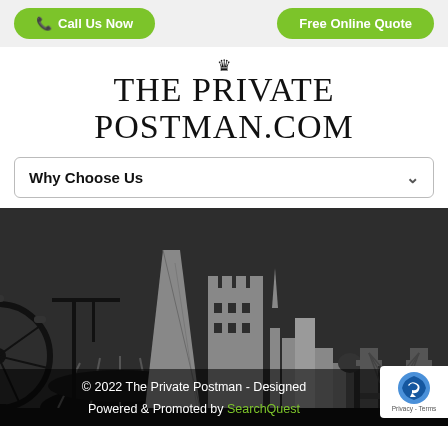Call Us Now | Free Online Quote
THE PRIVATE POSTMAN.COM
Why Choose Us
[Figure (illustration): London city skyline silhouette illustration in dark grey background with grey buildings including the Shard, a castle-like tower, and Tower Bridge on the right. London Eye partial on the left.]
© 2022 The Private Postman - Designed · Powered & Promoted by SearchQuest